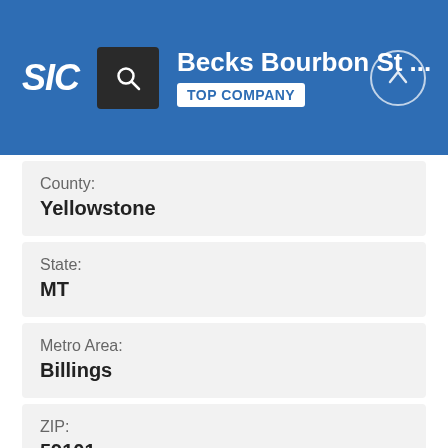SIC | Becks Bourbon St ... | TOP COMPANY
County:
Yellowstone
State:
MT
Metro Area:
Billings
ZIP:
59101
Area Code: